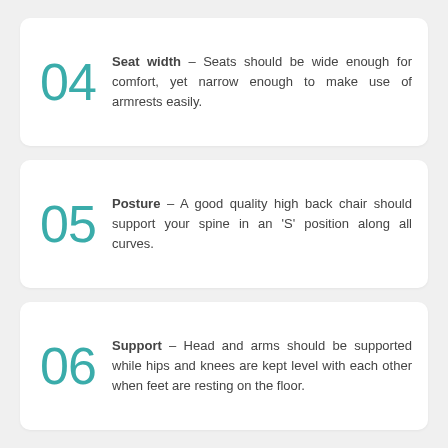04 Seat width – Seats should be wide enough for comfort, yet narrow enough to make use of armrests easily.
05 Posture – A good quality high back chair should support your spine in an 'S' position along all curves.
06 Support – Head and arms should be supported while hips and knees are kept level with each other when feet are resting on the floor.